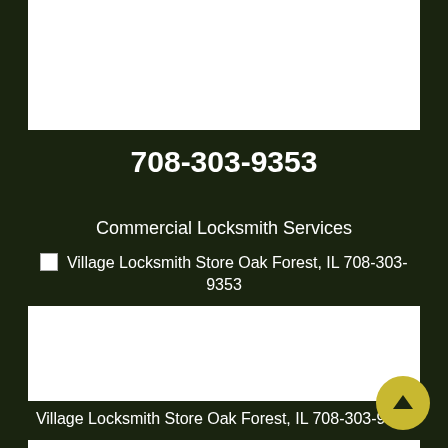[Figure (other): White image placeholder at top]
708-303-9353
Commercial Locksmith Services
[Figure (other): Broken image: Village Locksmith Store Oak Forest, IL 708-303-9353]
[Figure (other): White image placeholder in middle]
Automotive Locksmith Services
[Figure (other): Broken image: Village Locksmith Store Oak Forest, IL 708-303-9353]